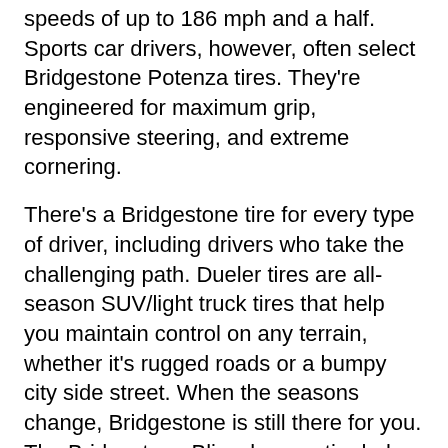speeds of up to 186 mph and a half. Sports car drivers, however, often select Bridgestone Potenza tires. They're engineered for maximum grip, responsive steering, and extreme cornering.
There's a Bridgestone tire for every type of driver, including drivers who take the challenging path. Dueler tires are all-season SUV/light truck tires that help you maintain control on any terrain, whether it's rugged roads or a bumpy city side street. When the seasons change, Bridgestone is still there for you. The Bridgestone Blizzak snow tire helps you drive with cold confidence thanks to a rubber compound and tread pattern that bite into ice and snow.
Ready to equip your vehicle with a tire that gives you more? Find a Bridgestone tire dealer near you and shop Bridgestone car and truck tires for sale in 53143. You haven't experienced clutch performance until you've driven with Bridgestone tires.